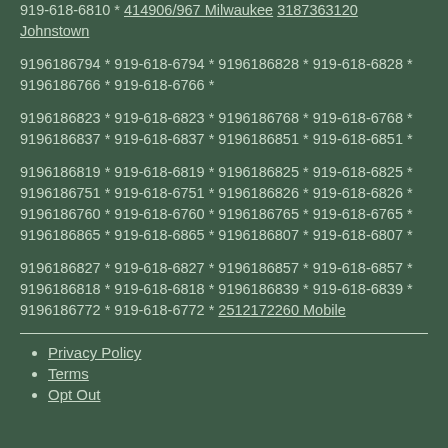919-618-6810 * 414906/967 Milwaukee 3187363120 Johnstown
9196186794 * 919-618-6794 * 9196186828 * 919-618-6828 * 9196186766 * 919-618-6766 *
9196186823 * 919-618-6823 * 9196186768 * 919-618-6768 * 9196186837 * 919-618-6837 * 9196186851 * 919-618-6851 *
9196186819 * 919-618-6819 * 9196186825 * 919-618-6825 * 9196186751 * 919-618-6751 * 9196186826 * 919-618-6826 * 9196186760 * 919-618-6760 * 9196186765 * 919-618-6765 * 9196186865 * 919-618-6865 * 9196186807 * 919-618-6807 *
9196186827 * 919-618-6827 * 9196186857 * 919-618-6857 * 9196186818 * 919-618-6818 * 9196186839 * 919-618-6839 * 9196186772 * 919-618-6772 * 2512172260 Mobile
Privacy Policy
Terms
Opt Out